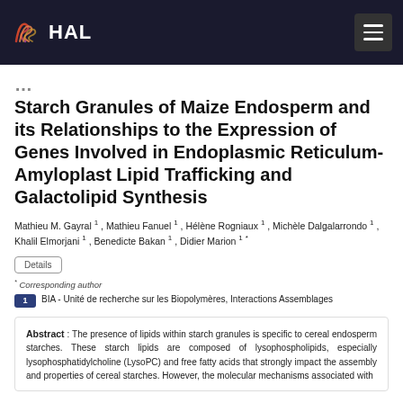HAL
Starch Granules of Maize Endosperm and its Relationships to the Expression of Genes Involved in Endoplasmic Reticulum-Amyloplast Lipid Trafficking and Galactolipid Synthesis
Mathieu M. Gayral 1 , Mathieu Fanuel 1 , Hélène Rogniaux 1 , Michèle Dalgalarrondo 1 , Khalil Elmorjani 1 , Benedicte Bakan 1 , Didier Marion 1 *
Details
* Corresponding author
1   BIA - Unité de recherche sur les Biopolymères, Interactions Assemblages
Abstract : The presence of lipids within starch granules is specific to cereal endosperm starches. These starch lipids are composed of lysophospholipids, especially lysophosphatidylcholine (LysoPC) and free fatty acids that strongly impact the assembly and properties of cereal starches. However, the molecular mechanisms associated with